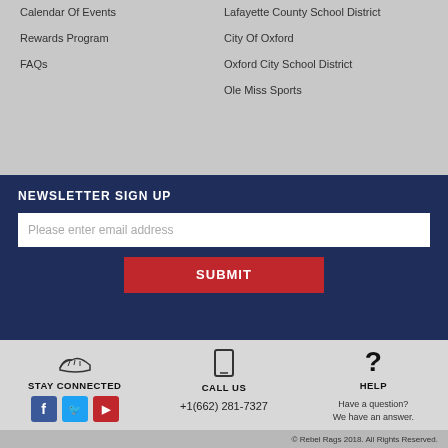Calendar Of Events
Lafayette County School District
Rewards Program
City Of Oxford
FAQs
Oxford City School District
Ole Miss Sports
NEWSLETTER SIGN UP
Please enter email address
SUBMIT
STAY CONNECTED
CALL US
HELP
+1(662) 281-7327
Have a question? We have an answer.
© Rebel Rags 2018. All Rights Reserved.